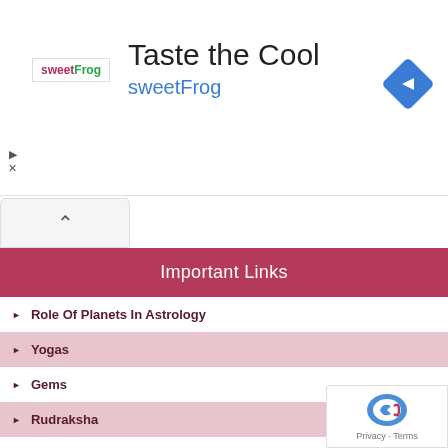[Figure (screenshot): SweetFrog advertisement banner with logo, 'Taste the Cool' headline, 'sweetFrog' subtitle in blue, and a blue navigation arrow icon on the right]
^
Important Links
Role Of Planets In Astrology
Yogas
Gems
Rudraksha
Ascendants
Result of Planets
Marriage Problems